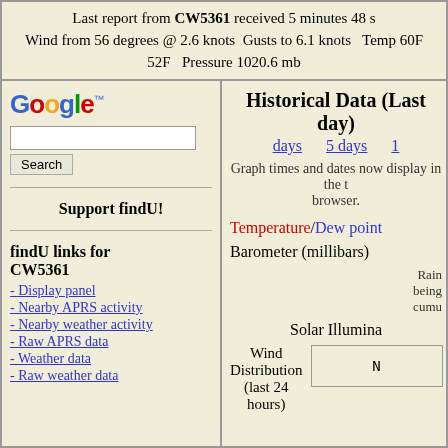Last report from CW5361 received 5 minutes 48 s Wind from 56 degrees @ 2.6 knots Gusts to 6.1 knots Temp 60F 52F Pressure 1020.6 mb
[Figure (screenshot): Google search box with Search button]
Support findU!
findU links for CW5361
- Display panel
- Nearby APRS activity
- Nearby weather activity
- Raw APRS data
- Weather data
- Raw weather data
Historical Data (Last day)
days   5 days   10
Graph times and dates now display in the t browser.
Temperature/Dew point
Barometer (millibars)
Rain being cumu
Solar Illumina
Wind Distribution (last 24 hours)
N